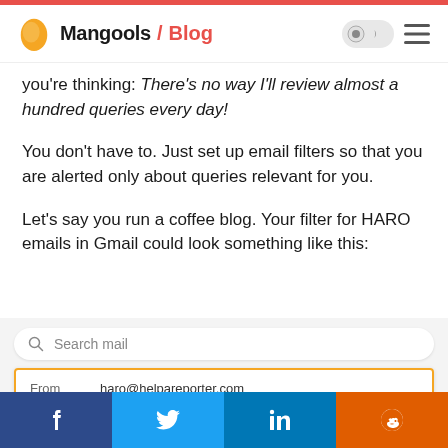Mangools / Blog
you're thinking: There's no way I'll review almost a hundred queries every day!
You don't have to. Just set up email filters so that you are alerted only about queries relevant for you.
Let's say you run a coffee blog. Your filter for HARO emails in Gmail could look something like this:
[Figure (screenshot): Gmail filter interface showing a search bar with 'Search mail' placeholder and a filter panel with 'From: haro@helpareporter.com' field highlighted in a gold/yellow border, and a 'To' field below.]
Facebook | Twitter | LinkedIn | Reddit social share buttons